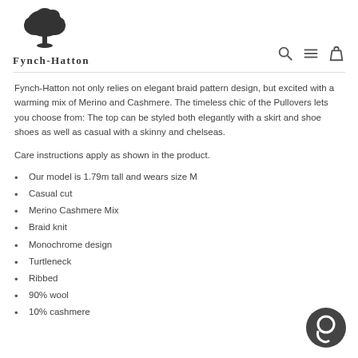[Figure (logo): Fynch-Hatton brand logo with a tree illustration above the brand name text 'FYNCH-HATTON']
Fynch-Hatton not only relies on elegant braid pattern design, but excited with a warming mix of Merino and Cashmere. The timeless chic of the Pullovers lets you choose from: The top can be styled both elegantly with a skirt and shoe shoes as well as casual with a skinny and chelseas.
Care instructions apply as shown in the product.
Our model is 1.79m tall and wears size M
Casual cut
Merino Cashmere Mix
Braid knit
Monochrome design
Turtleneck
Ribbed
90% wool
10% cashmere